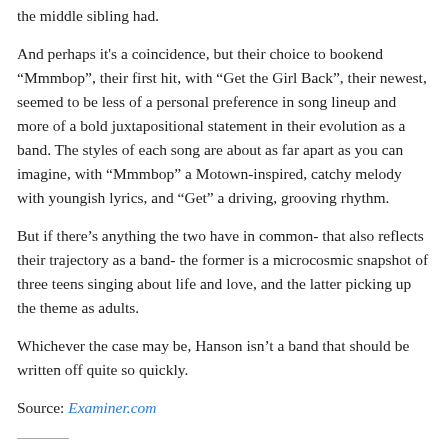the middle sibling had.
And perhaps it's a coincidence, but their choice to bookend “Mmmbop”, their first hit, with “Get the Girl Back”, their newest, seemed to be less of a personal preference in song lineup and more of a bold juxtapositional statement in their evolution as a band. The styles of each song are about as far apart as you can imagine, with “Mmmbop” a Motown-inspired, catchy melody with youngish lyrics, and “Get” a driving, grooving rhythm.
But if there’s anything the two have in common- that also reflects their trajectory as a band- the former is a microcosmic snapshot of three teens singing about life and love, and the latter picking up the theme as adults.
Whichever the case may be, Hanson isn’t a band that should be written off quite so quickly.
Source: Examiner.com
Share: